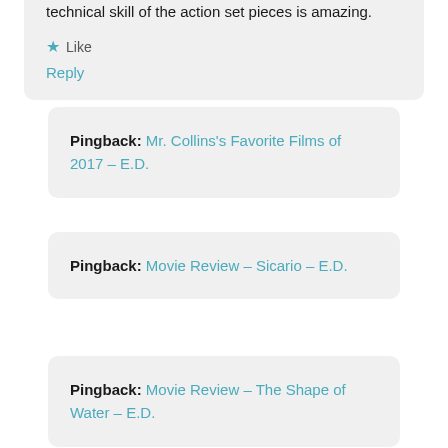technical skill of the action set pieces is amazing.
★ Like
Reply
Pingback: Mr. Collins's Favorite Films of 2017 – E.D.
Pingback: Movie Review – Sicario – E.D.
Pingback: Movie Review – The Shape of Water – E.D.